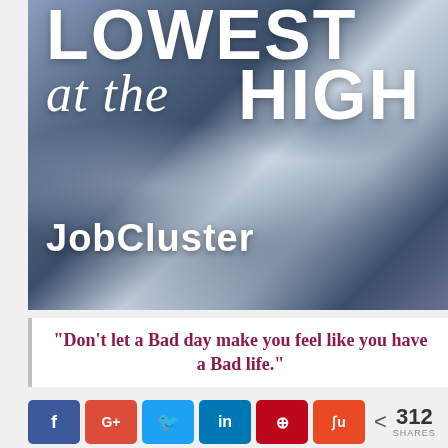[Figure (illustration): Aerial mountain/landscape photo with blue tint overlay. Bold white text reads 'LOWEST' at top, 'at the' in italic below, 'HIGH' in bold to the right, and 'JobCluster' logo in bold white at bottom left.]
“Don’t let a Bad day make you feel like you have a Bad life.”
< 312 SHARES